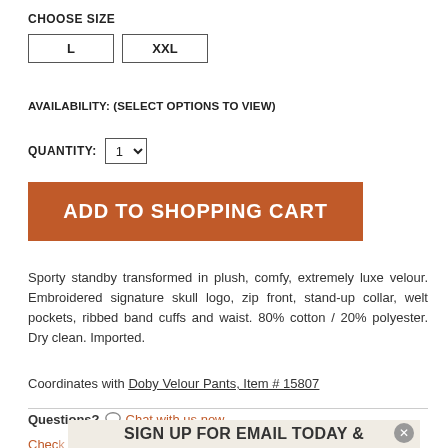CHOOSE SIZE
L   XXL
AVAILABILITY: (SELECT OPTIONS TO VIEW)
QUANTITY: [dropdown]
ADD TO SHOPPING CART
Sporty standby transformed in plush, comfy, extremely luxe velour. Embroidered signature skull logo, zip front, stand-up collar, welt pockets, ribbed band cuffs and waist. 80% cotton / 20% polyester. Dry clean. Imported.
Coordinates with Doby Velour Pants, Item # 15807
Questions? Chat with us now.
SIGN UP FOR EMAIL TODAY &